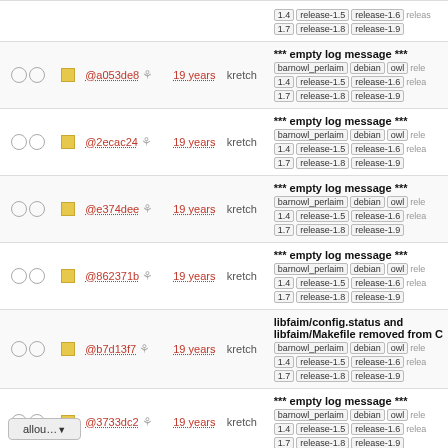| checks | icon | hash | age | author | message |
| --- | --- | --- | --- | --- | --- |
| OO | yellow-sq | @a053de8 ⚙ | 19 years | kretch | *** empty log message ***
barnowl_perlhaim | debian | owl | rele...
1.4 | release-1.5 | release-1.6 | relea...
1.7 | release-1.8 | release-1.9 |
| OO | yellow-sq | @2ecac24 ⚙ | 19 years | kretch | *** empty log message ***
barnowl_perlhaim | debian | owl | rele...
1.4 | release-1.5 | release-1.6 | relea...
1.7 | release-1.8 | release-1.9 |
| OO | yellow-sq | @e374dee ⚙ | 19 years | kretch | *** empty log message ***
barnowl_perlhaim | debian | owl | rele...
1.4 | release-1.5 | release-1.6 | relea...
1.7 | release-1.8 | release-1.9 |
| OO | yellow-sq | @862371b ⚙ | 19 years | kretch | *** empty log message ***
barnowl_perlhaim | debian | owl | rele...
1.4 | release-1.5 | release-1.6 | relea...
1.7 | release-1.8 | release-1.9 |
| OO | yellow-sq | @b7d13f7 ⚙ | 19 years | kretch | libfaim/config.status and libfaim/Makefile removed from C
barnowl_perlhaim | debian | owl | rele...
1.4 | release-1.5 | release-1.6 | relea...
1.7 | release-1.8 | release-1.9 |
| OO | yellow-sq | @3733dc2 ⚙ | 19 years | kretch | *** empty log message ***
barnowl_perlhaim | debian | owl | rele...
1.4 | release-1.5 | release-1.6 | relea...
1.7 | release-1.8 | release-1.9 |
| ●O | green-sq | @5e53c4a ⚙ | 19 years | kretch | *** empty log message ***
barnowl_perlhaim | debian | owl | rele...
1.4 | release-1.5 | release-1.6 | relea...
1.7 | release-1.8 | release-1.9 |